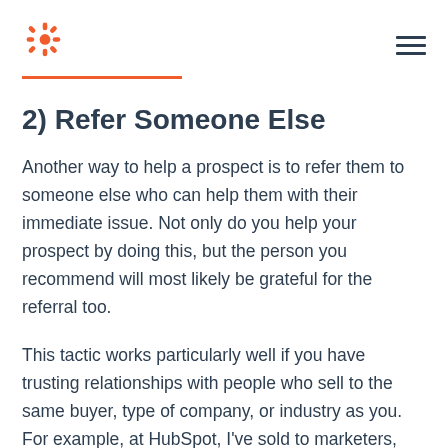HubSpot logo and navigation menu
2) Refer Someone Else
Another way to help a prospect is to refer them to someone else who can help them with their immediate issue. Not only do you help your prospect by doing this, but the person you recommend will most likely be grateful for the referral too.
This tactic works particularly well if you have trusting relationships with people who sell to the same buyer, type of company, or industry as you. For example, at HubSpot, I've sold to marketers, agencies, and sales leaders. Over the years, I've referred a bunch of business to complementary providers. The companies